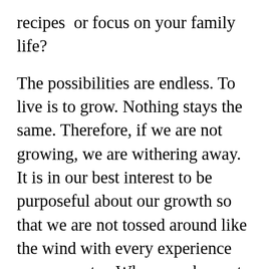recipes  or focus on your family life?

The possibilities are endless. To live is to grow. Nothing stays the same. Therefore, if we are not growing, we are withering away. It is in our best interest to be purposeful about our growth so that we are not tossed around like the wind with every experience we encounter. When we choose to grow we are increasing our humanity. Our  ability to relate to others and better understand the world around us. We are the architects of our life. Wow, now that is a cool concept to